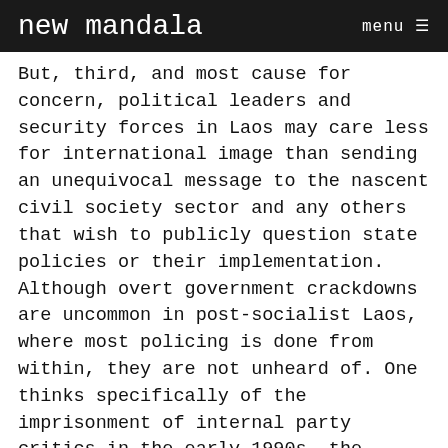new mandala   menu ≡
But, third, and most cause for concern, political leaders and security forces in Laos may care less for international image than sending an unequivocal message to the nascent civil society sector and any others that wish to publicly question state policies or their implementation. Although overt government crackdowns are uncommon in post-socialist Laos, where most policing is done from within, they are not unheard of. One thinks specifically of the imprisonment of internal party critics in the early 1990s, the disappearance of student protestors in 1999, and the disappearance/abduction of Sompawn Khanthisouk from northern Laos in 2007. In the past, such clampdowns have had the desired